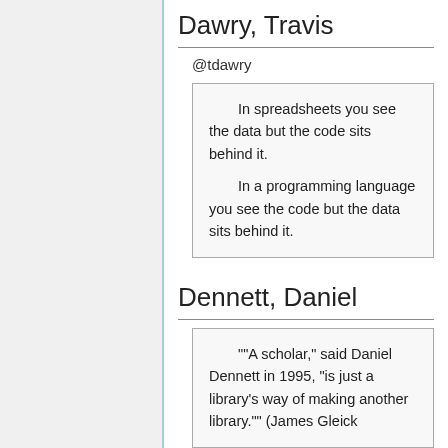Dawry, Travis
@tdawry
In spreadsheets you see the data but the code sits behind it.

In a programming language you see the code but the data sits behind it.
Dennett, Daniel
""A scholar," said Daniel Dennett in 1995, “is just a library’s way of making another library."" (James Gleick